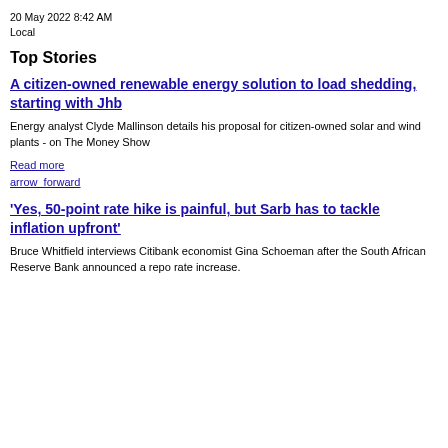20 May 2022 8:42 AM
Local
Top Stories
A citizen-owned renewable energy solution to load shedding, starting with Jhb
Energy analyst Clyde Mallinson details his proposal for citizen-owned solar and wind plants - on The Money Show
Read more
arrow_forward
'Yes, 50-point rate hike is painful, but Sarb has to tackle inflation upfront'
Bruce Whitfield interviews Citibank economist Gina Schoeman after the South African Reserve Bank announced a repo rate increase.